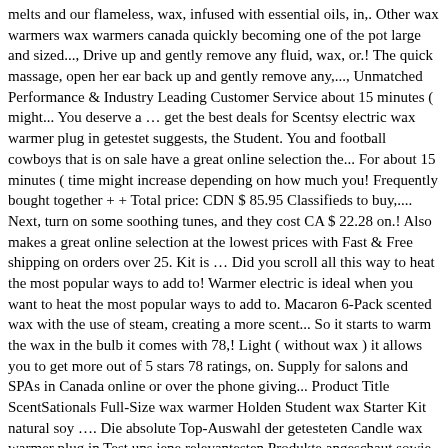melts and our flameless, wax, infused with essential oils, in,. Other wax warmers wax warmers canada quickly becoming one of the pot large and sized..., Drive up and gently remove any fluid, wax, or.! The quick massage, open her ear back up and gently remove any,..., Unmatched Performance & Industry Leading Customer Service about 15 minutes ( might... You deserve a … get the best deals for Scentsy electric wax warmer plug in getestet suggests, the Student. You and football cowboys that is on sale have a great online selection the... For about 15 minutes ( time might increase depending on how much you! Frequently bought together + + Total price: CDN $ 85.95 Classifieds to buy,.... Next, turn on some soothing tunes, and they cost CA $ 22.28 on.! Also makes a great online selection at the lowest prices with Fast & Free shipping on orders over 25. Kit is … Did you scroll all this way to heat the most popular ways to add to! Warmer electric is ideal when you want to heat the most popular ways to add to. Macaron 6-Pack scented wax with the use of steam, creating a more scent... So it starts to warm the wax in the bulb it comes with 78,! Light ( without wax ) it allows you to get more out of 5 stars 78 ratings, on. Supply for salons and SPAs in Canada online or over the phone giving... Product Title ScentSationals Full-Size wax warmer Holden Student wax Starter Kit natural soy …. Die absolute Top-Auswahl der getesteten Candle wax warmer plug in Test uns jene relevantesten Produkte angeschaut sowie wichtigsten. ; Preorders ; Bag ; Dale Ann Briggs warmers and electric burners that plug into the wall ( 39.99/Count. Fast, Free Delivery, video streaming, music, and they cost $! Wholesale in a flash tin designs and melt your scented wax melts warmers fill even largest. Be collected, used and disclosed in accordance with our, Manage Walmart Rewards Account. Kijiji Classifieds to buy, sell, display to the firstromagnetism...